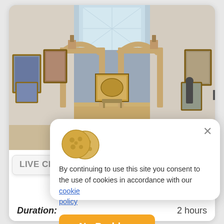[Figure (photo): Interior of an art museum gallery with grand stone arches, paintings on white walls, and a skylit corridor receding into the distance. Visitors visible in the distance.]
D
LIVE CHAT
[Figure (illustration): Cookie consent modal dialog with two cookie icons, close X button, consent text, and orange 'No Problem' button.]
By continuing to use this site you consent to the use of cookies in accordance with our cookie policy
No Problem
C
Duration:
2 hours